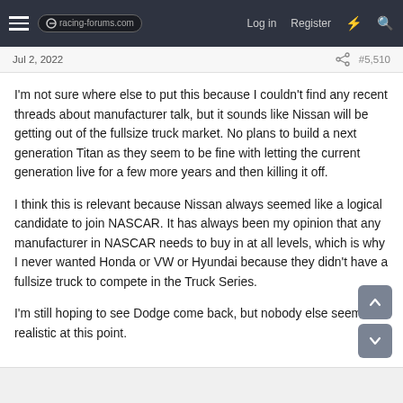racing-forums.com — Log in  Register
Jul 2, 2022  #5,510
I'm not sure where else to put this because I couldn't find any recent threads about manufacturer talk, but it sounds like Nissan will be getting out of the fullsize truck market. No plans to build a next generation Titan as they seem to be fine with letting the current generation live for a few more years and then killing it off.
I think this is relevant because Nissan always seemed like a logical candidate to join NASCAR. It has always been my opinion that any manufacturer in NASCAR needs to buy in at all levels, which is why I never wanted Honda or VW or Hyundai because they didn't have a fullsize truck to compete in the Truck Series.
I'm still hoping to see Dodge come back, but nobody else seems realistic at this point.